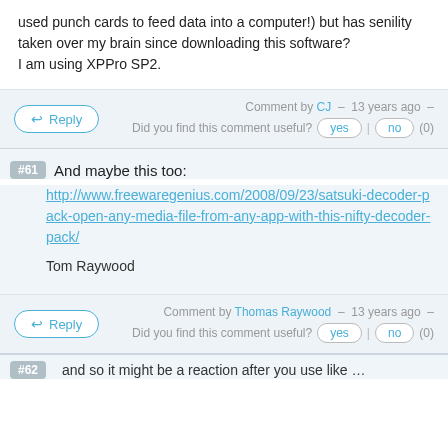used punch cards to feed data into a computer!) but has senility taken over my brain since downloading this software?
I am using XPPro SP2.
Comment by CJ – 13 years ago – Did you find this comment useful? yes | no (0)
#61  And maybe this too:
http://www.freewaregenius.com/2008/09/23/satsuki-decoder-pack-open-any-media-file-from-any-app-with-this-nifty-decoder-pack/
Tom Raywood
Comment by Thomas Raywood – 13 years ago – Did you find this comment useful? yes | no (0)
#62  and so it might be a reaction after you use like ...